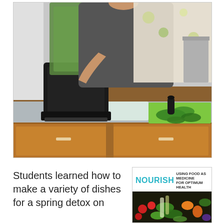[Figure (photo): A person using a blender on a kitchen counter with chopped kale on a green cutting board and a towel laid out beside it. Wooden cabinets visible in the background along with a floral tablecloth.]
Students learned how to make a variety of dishes for a spring detox on
[Figure (photo): Nourish: Using Food as Medicine for Optimum Health promotional graphic with vegetables photo below the title text.]